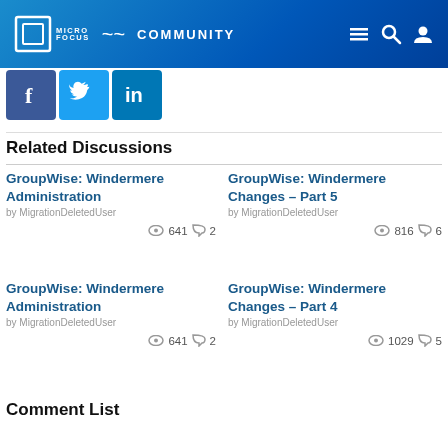Micro Focus Community
[Figure (logo): Social media icons: Facebook, Twitter, LinkedIn]
Related Discussions
GroupWise: Windermere Administration
by MigrationDeletedUser
👁 641 💬 2
GroupWise: Windermere Changes – Part 5
by MigrationDeletedUser
👁 816 💬 6
GroupWise: Windermere Administration
by MigrationDeletedUser
👁 641 💬 2
GroupWise: Windermere Changes – Part 4
by MigrationDeletedUser
👁 1029 💬 5
Comment List